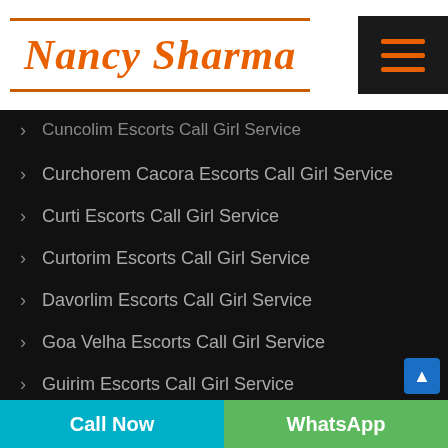[Figure (logo): Nancy Sharma logo in orange italic script font with orange top and bottom borders, alongside a dark hamburger menu button with orange lines]
Cuncolim Escorts Call Girl Service
Curchorem Cacora Escorts Call Girl Service
Curti Escorts Call Girl Service
Curtorim Escorts Call Girl Service
Davorlim Escorts Call Girl Service
Goa Velha Escorts Call Girl Service
Guirim Escorts Call Girl Service
Mandrem Escorts Call Girl Service
Manusa Escorts Call Girl Service
Call Now   WhatsApp